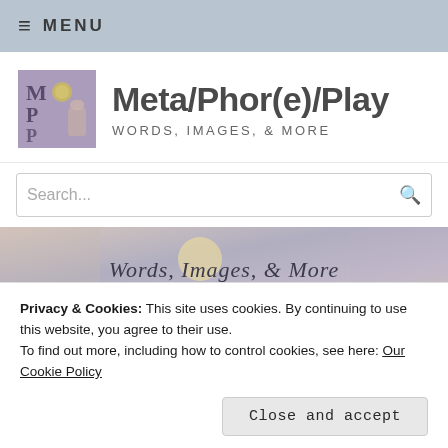≡ MENU
Meta/Phor(e)/Play
WORDS, IMAGES, & MORE
Search...
[Figure (illustration): Banner image with text 'Words, Images, & More' over a blurred artistic background with soft colors]
Michael's Books
Privacy & Cookies: This site uses cookies. By continuing to use this website, you agree to their use.
To find out more, including how to control cookies, see here: Our Cookie Policy
Close and accept